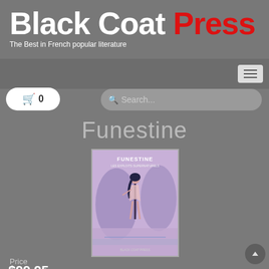Black Coat Press — The Best in French popular literature
Funestine
[Figure (photo): Book cover of 'Funestine' showing an anime-style female character in a purple/pink fantasy scene]
Price
$99.95